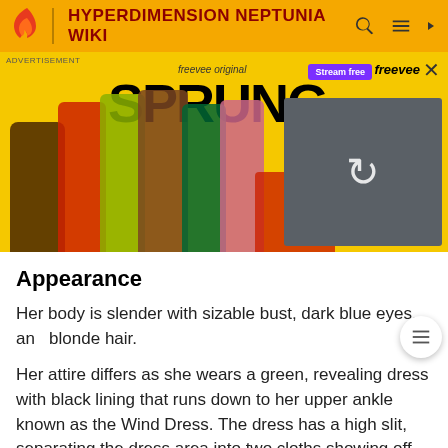HYPERDIMENSION NEPTUNIA WIKI
[Figure (screenshot): Advertisement banner for Freevee original show 'SPRUNG' with cast characters on yellow background and a video thumbnail on the right showing two people in a car]
Appearance
Her body is slender with sizable bust, dark blue eyes, and blonde hair.
Her attire differs as she wears a green, revealing dress with black lining that runs down to her upper ankle known as the Wind Dress. The dress has a high slit, separating the dress area into two cloths showing off Vert's legs. There is a black line that runs from below Vert's chest to